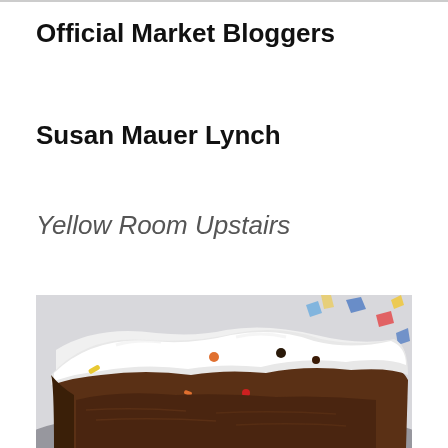Official Market Bloggers
Susan Mauer Lynch
Yellow Room Upstairs
[Figure (photo): Close-up photograph of a frosted bar cookie or brownie with white cream cheese frosting and colorful sprinkles on top, with confetti/party decorations visible in the background]